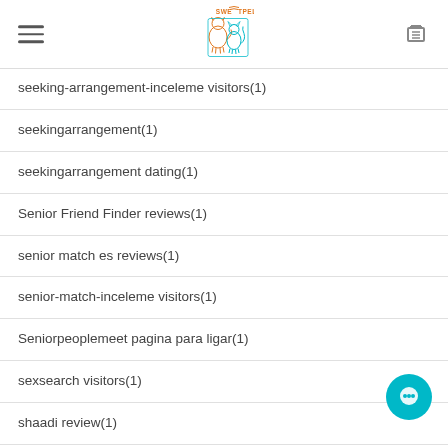[Figure (logo): Sweetpel pet shop logo with orange dog and teal cat outline, text SWEETPEL above]
seeking-arrangement-inceleme visitors(1)
seekingarrangement(1)
seekingarrangement dating(1)
Senior Friend Finder reviews(1)
senior match es reviews(1)
senior-match-inceleme visitors(1)
Seniorpeoplemeet pagina para ligar(1)
sexsearch visitors(1)
shaadi review(1)
shaadi visitors(1)